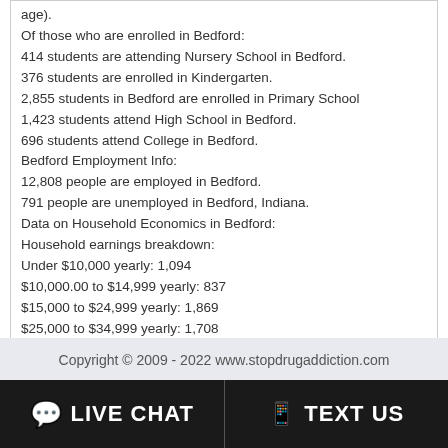age).
Of those who are enrolled in Bedford:
414 students are attending Nursery School in Bedford.
376 students are enrolled in Kindergarten.
2,855 students in Bedford are enrolled in Primary School
1,423 students attend High School in Bedford.
696 students attend College in Bedford.
Bedford Employment Info:
12,808 people are employed in Bedford.
791 people are unemployed in Bedford, Indiana.
Data on Household Economics in Bedford:
Household earnings breakdown:
Under $10,000 yearly: 1,094
$10,000.00 to $14,999 yearly: 837
$15,000 to $24,999 yearly: 1,869
$25,000 to $34,999 yearly: 1,708
$35,000 to $49,999 yearly: 1,913
$50,000 to $74,999 yearly: 2,310
$75,000 to $99,999 yearly: 1,030
$100,000 to $149,999 yearly: 480
$150,000 to $199,999 yearly: 77
$200,000 or more yearly: 60
Copyright © 2009 - 2022 www.stopdrugaddiction.com